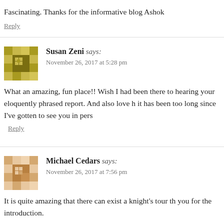Fascinating. Thanks for the informative blog Ashok
Reply
Susan Zeni says:
November 26, 2017 at 5:28 pm
What an amazing, fun place!! Wish I had been there to hearing your eloquently phrased report. And also love h it has been too long since I've gotten to see you in pers
Reply
Michael Cedars says:
November 26, 2017 at 7:56 pm
It is quite amazing that there can exist a knight's tour th you for the introduction.